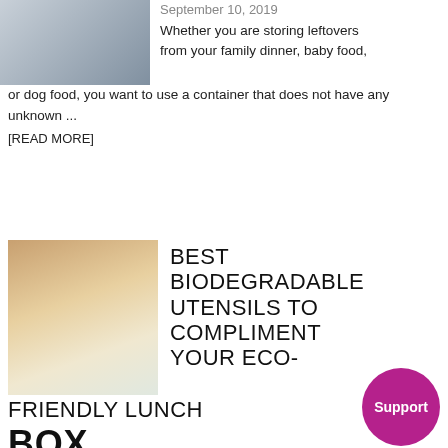[Figure (photo): Photo of a person holding a food storage container in a kitchen setting]
September 10, 2019
Whether you are storing leftovers from your family dinner, baby food, or dog food, you want to use a container that does not have any unknown ...
[READ MORE]
[Figure (photo): Photo of wooden and white biodegradable utensils (spoons and forks) on a light background]
BEST BIODEGRADABLE UTENSILS TO COMPLIMENT YOUR ECO-FRIENDLY LUNCH BOX
August 13, 2019